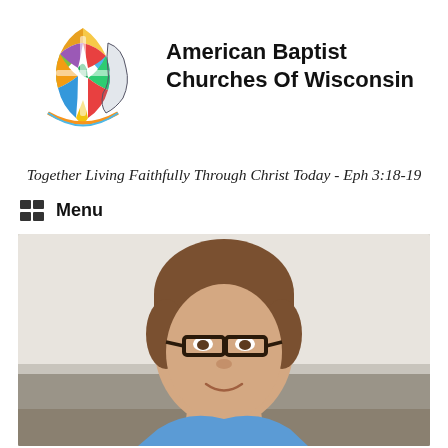[Figure (logo): American Baptist Churches of Wisconsin logo — colorful mosaic fish/globe shape with a cross, Wisconsin state outline overlay]
American Baptist Churches Of Wisconsin
Together Living Faithfully Through Christ Today - Eph 3:18-19
Menu
[Figure (photo): Portrait photo of a woman with short brown hair and dark-rimmed glasses, smiling, wearing a blue top, with a white wall and outdoor background]